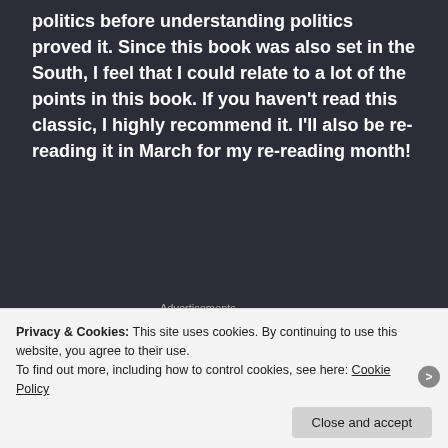politics before understanding politics proved it. Since this book was also set in the South, I feel that I could relate to a lot of the points in this book. If you haven't read this classic, I highly recommend it. I'll also be re-reading it in March for my re-reading month!
Advertisements
[Figure (other): Longreads advertisement banner with red circle logo and LONGREADS text]
[Figure (photo): Book cover with purple/blue background showing tree silhouettes and text: New York Times Bestseller, More than One Million Copies Sold]
Privacy & Cookies: This site uses cookies. By continuing to use this website, you agree to their use.
To find out more, including how to control cookies, see here: Cookie Policy